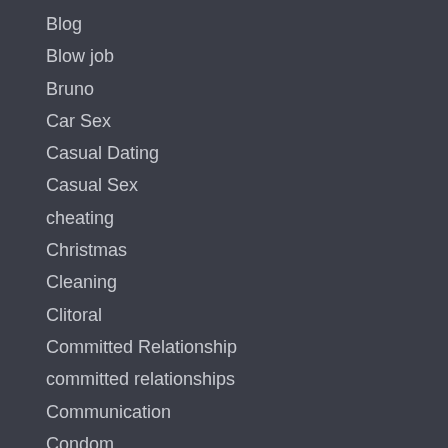Blog
Blow job
Bruno
Car Sex
Casual Dating
Casual Sex
cheating
Christmas
Cleaning
Clitoral
Committed Relationship
committed relationships
Communication
Condom
Contest
Couples
couples communication
Couples Massage